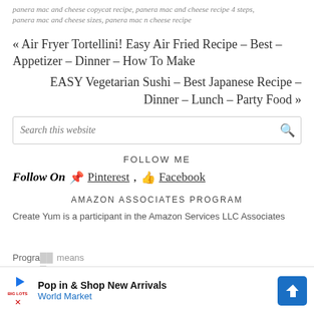panera mac and cheese copycat recipe, panera mac and cheese recipe 4 steps, panera mac and cheese sizes, panera mac n cheese recipe
« Air Fryer Tortellini! Easy Air Fried Recipe – Best – Appetizer – Dinner – How To Make
EASY Vegetarian Sushi – Best Japanese Recipe – Dinner – Lunch – Party Food »
Search this website
FOLLOW ME
Follow On 📌Pinterest, 👍Facebook
AMAZON ASSOCIATES PROGRAM
Create Yum is a participant in the Amazon Services LLC Associates Program, an affiliate advertising program designed to provide a means for sites
[Figure (other): Advertisement banner: Pop in & Shop New Arrivals – World Market]